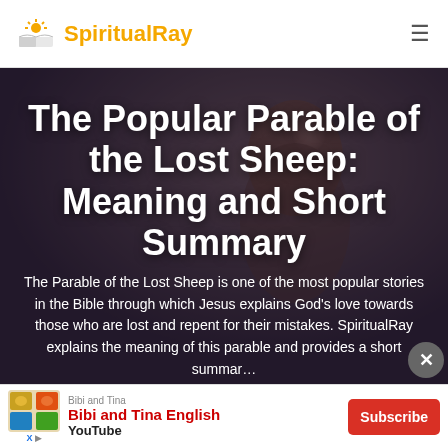SpiritualRay
[Figure (photo): Woman with eyes closed, hands in prayer pose, dark moody background with bokeh lighting]
The Popular Parable of the Lost Sheep: Meaning and Short Summary
The Parable of the Lost Sheep is one of the most popular stories in the Bible through which Jesus explains God's love towards those who are lost and repent for their mistakes. SpiritualRay explains the meaning of this parable and provides a short summar…
[Figure (illustration): Bibi and Tina YouTube advertisement banner with red Subscribe button]